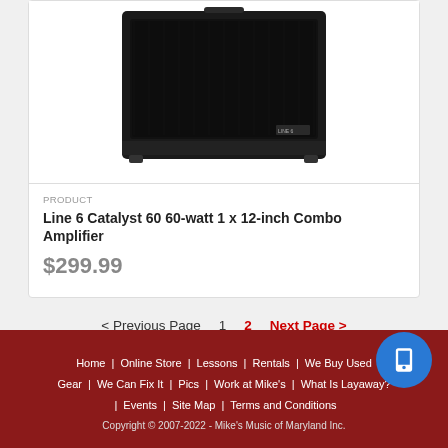[Figure (photo): Line 6 Catalyst 60 combo amplifier — black rectangular guitar amp cabinet with speaker grille]
PRODUCT
Line 6 Catalyst 60 60-watt 1 x 12-inch Combo Amplifier
$299.99
< Previous Page   1   2   Next Page >
Home | Online Store | Lessons | Rentals | We Buy Used Gear | We Can Fix It | Pics | Work at Mike's | What Is Layaway? | Events | Site Map | Terms and Conditions
Copyright © 2007-2022 - Mike's Music of Maryland Inc.